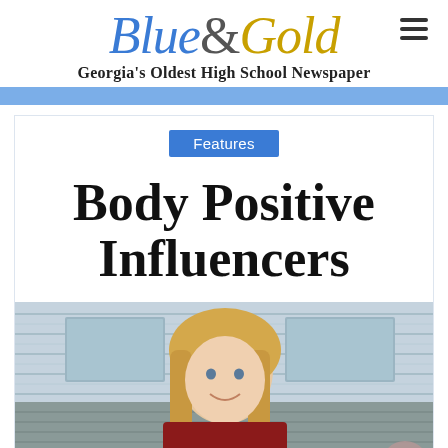Blue&Gold — Georgia's Oldest High School Newspaper
Features
Body Positive Influencers
[Figure (photo): Smiling young woman with long blonde hair wearing a red and gold varsity/letterman jacket, standing outdoors in front of a corrugated metal building. A social media thumbs-up button appears in the lower right corner of the photo.]